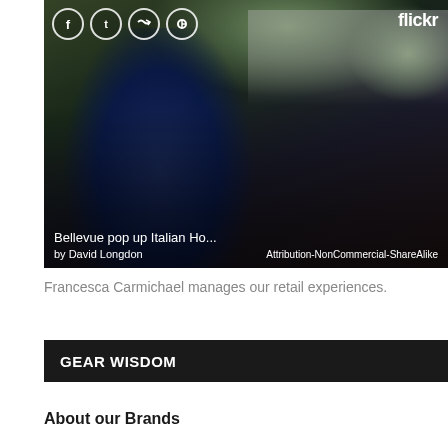[Figure (photo): Photo of a woman at an outdoor market/pop-up event. She is wearing a navy blue sweater and a knit beanie hat. Behind her is a white tent/canopy with a sign reading 'northwest in motion'. Social media sharing icons (Facebook, Tumblr, Twitter, Pinterest) appear in the top left. Flickr logo appears in the top right. Caption reads 'Bellevue pop up Italian Ho...' by David Longdon. License: Attribution-NonCommercial-ShareAlike.]
Francesca Carmichael manages our retail experiences.
GEAR WISDOM
About our Brands